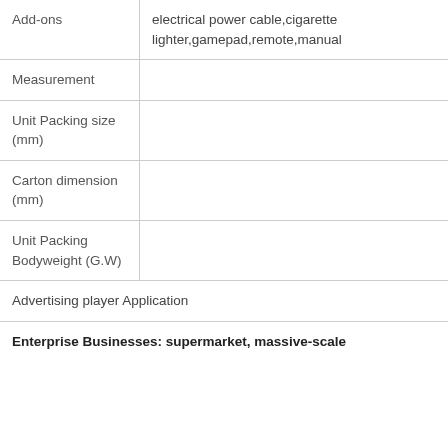| Add-ons | electrical power cable,cigarette lighter,gamepad,remote,manual |
| Measurement |  |
| Unit Packing size (mm) |  |
| Carton dimension (mm) |  |
| Unit Packing Bodyweight (G.W) |  |
| Advertising player Application |  |
| Enterprise Businesses: supermarket, massive-scale |  |